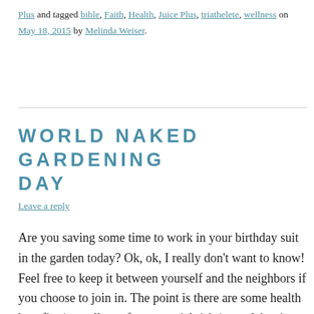Plus and tagged bible, Faith, Health, Juice Plus, triathelete, wellness on May 18, 2015 by Melinda Weiser.
WORLD NAKED GARDENING DAY
Leave a reply
Are you saving some time to work in your birthday suit in the garden today? Ok, ok, I really don’t want to know!  Feel free to keep it between yourself and the neighbors if you choose to join in.  The point is there are some health benefits (as well as a few potential risks) to celebrating this strange world wide